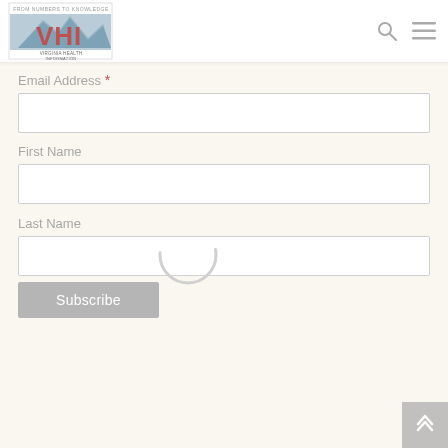[Figure (logo): Virginia Health Information (VHI) logo with mountain graphic and tagline 'From Numbers to Knowledge']
Email Address *
First Name
Last Name
Subscribe